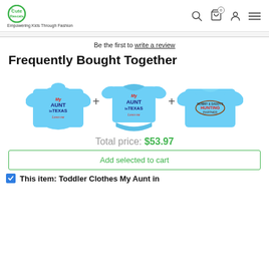Cute Rascals – Empowering Kids Through Fashion
Be the first to write a review
Frequently Bought Together
[Figure (photo): Three light blue children's shirts/onesies shown side by side with plus signs between them. Left: t-shirt with 'My Aunt in Texas Loves me'. Middle: onesie with 'My Aunt in Texas Loves me'. Right: t-shirt with 'Mommy & Daddy's Hunting Partner'.]
Total price: $53.97
Add selected to cart
This item: Toddler Clothes My Aunt in